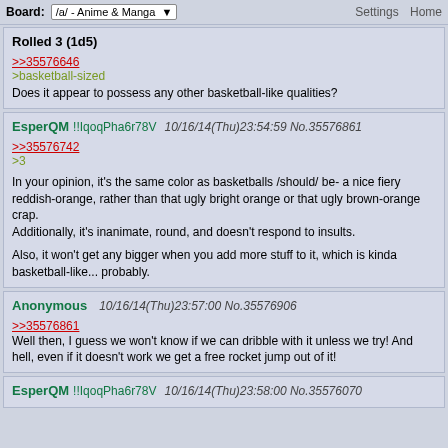Board: /a/ - Anime & Manga | Settings Home
Rolled 3 (1d5)
>>35576646
>basketball-sized
Does it appear to possess any other basketball-like qualities?
EsperQM !!IqoqPha6r78V 10/16/14(Thu)23:54:59 No.35576861
>>35576742
>3

In your opinion, it's the same color as basketballs /should/ be- a nice fiery reddish-orange, rather than that ugly bright orange or that ugly brown-orange crap.
Additionally, it's inanimate, round, and doesn't respond to insults.

Also, it won't get any bigger when you add more stuff to it, which is kinda basketball-like... probably.
Anonymous 10/16/14(Thu)23:57:00 No.35576906
>>35576861
Well then, I guess we won't know if we can dribble with it unless we try! And hell, even if it doesn't work we get a free rocket jump out of it!
EsperQM !!IqoqPha6r78V 10/16/14(Thu)23:58:00 No.35576070